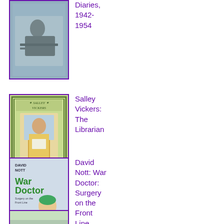[Figure (photo): Book cover - person at desk writing, black and white photo, purple border. Diaries, 1942-1954]
Diaries, 1942-1954
[Figure (illustration): Book cover - Salley Vickers The Librarian, green decorative border with woman reading, green background]
Salley Vickers: The Librarian
[Figure (photo): Book cover - David Nott War Doctor: Surgery on the Front Line, surgeon in green scrubs]
David Nott: War Doctor: Surgery on the Front Line
[Figure (photo): Partially visible book cover at bottom]